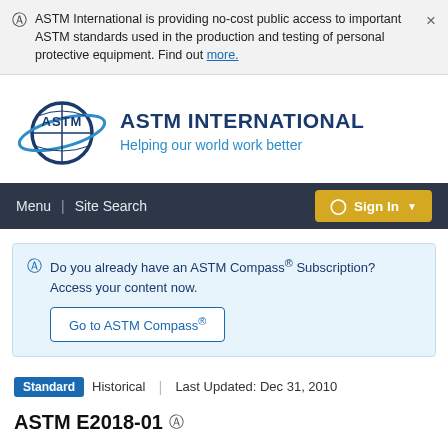ASTM International is providing no-cost public access to important ASTM standards used in the production and testing of personal protective equipment. Find out more.
[Figure (logo): ASTM International logo with globe and text 'ASTM INTERNATIONAL Helping our world work better']
Menu | Site Search  Sign In
Do you already have an ASTM Compass® Subscription? Access your content now. Go to ASTM Compass®
Standard   Historical  |  Last Updated: Dec 31, 2010
ASTM E2018-01